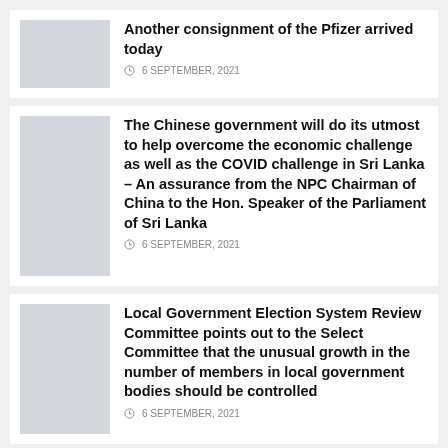[Figure (photo): Thumbnail image placeholder for first news article]
Another consignment of the Pfizer arrived today
6 SEPTEMBER, 2021
[Figure (photo): Thumbnail image placeholder for second news article]
The Chinese government will do its utmost to help overcome the economic challenge as well as the COVID challenge in Sri Lanka – An assurance from the NPC Chairman of China to the Hon. Speaker of the Parliament of Sri Lanka
6 SEPTEMBER, 2021
[Figure (photo): Thumbnail image placeholder for third news article]
Local Government Election System Review Committee points out to the Select Committee that the unusual growth in the number of members in local government bodies should be controlled
6 SEPTEMBER, 2021
[Figure (photo): Thumbnail image placeholder for fourth news article]
The debate on the Proclamation of Emergency Regulations scheduled today –